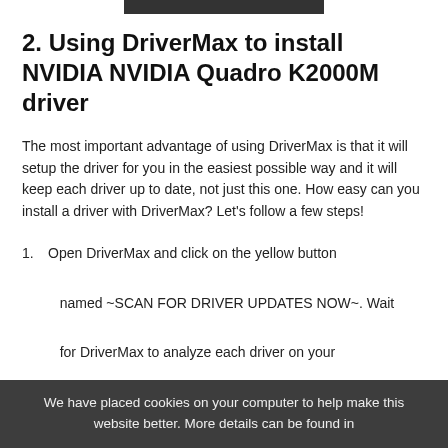2. Using DriverMax to install NVIDIA NVIDIA Quadro K2000M driver
The most important advantage of using DriverMax is that it will setup the driver for you in the easiest possible way and it will keep each driver up to date, not just this one. How easy can you install a driver with DriverMax? Let's follow a few steps!
1. Open DriverMax and click on the yellow button named ~SCAN FOR DRIVER UPDATES NOW~. Wait for DriverMax to analyze each driver on your computer.
2.
We have placed cookies on your computer to help make this website better. More details can be found in